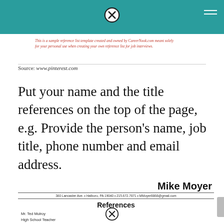[Figure (other): Teal navigation bar with close button (circled X) and hamburger menu lines]
This is a sample reference list template created and owned by CareerNook.com meant solely for your personal use when creating your own reference list for job interviews.
Source: www.pinterest.com
Put your name and the title references on the top of the page, e.g. Provide the person's name, job title, phone number and email address.
Mike Moyer
360 Lancaster Ave. • Hatboro, PA 19040 • 215.672.7871 • MMoyer8868@gmail.com
References
Mr. Ted Mulroy
High School Teacher
Hatboro Horsham High School
899 Horsham Road
Horsham, PA 19044
emulroy@hatboro-horsham.org